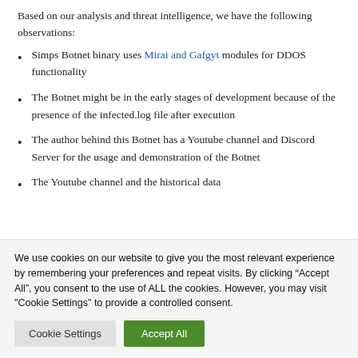Based on our analysis and threat intelligence, we have the following observations:
Simps Botnet binary uses Mirai and Gafgyt modules for DDOS functionality
The Botnet might be in the early stages of development because of the presence of the infected.log file after execution
The author behind this Botnet has a Youtube channel and Discord Server for the usage and demonstration of the Botnet
The Youtube channel and the historical data
We use cookies on our website to give you the most relevant experience by remembering your preferences and repeat visits. By clicking “Accept All”, you consent to the use of ALL the cookies. However, you may visit "Cookie Settings" to provide a controlled consent.